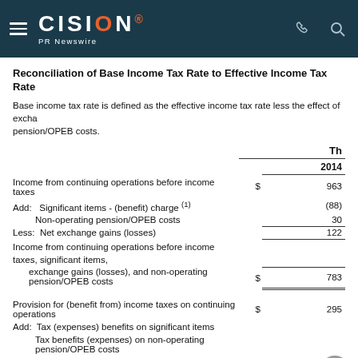CISION PR Newswire
Reconciliation of Base Income Tax Rate to Effective Income Tax Rate
Base income tax rate is defined as the effective income tax rate less the effect of exchange pension/OPEB costs.
|  | Th | 2014 |
| --- | --- | --- |
| Income from continuing operations before income taxes | $ | 963 |
| Add:   Significant items - (benefit) charge (1) |  | (88) |
|          Non-operating pension/OPEB costs |  | 30 |
| Less:  Net exchange gains (losses) |  | 122 |
| Income from continuing operations before income taxes, significant items, exchange gains (losses), and non-operating pension/OPEB costs | $ | 783 |
| Provision for (benefit from) income taxes on continuing operations | $ | 295 |
| Add:  Tax (expenses) benefits on significant items |  |  |
|          Tax benefits (expenses) on non-operating pension/OPEB costs |  |  |
|          Tax (expenses) benefits on exchange gains/losses |  | (185) |